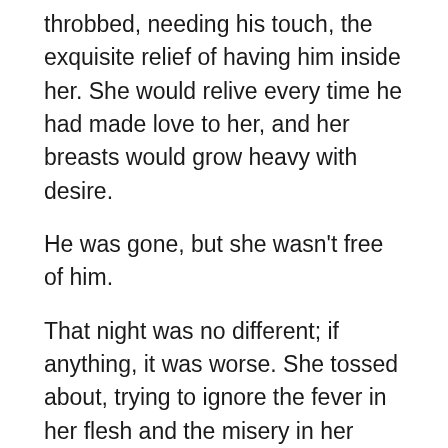throbbed, needing his touch, the exquisite relief of having him inside her. She would relive every time he had made love to her, and her breasts would grow heavy with desire.
He was gone, but she wasn't free of him.
That night was no different; if anything, it was worse. She tossed about, trying to ignore the fever in her flesh and the misery in her heart. The T-shirt she wore rasped her aching nipples, tempting her to remove it, but she knew better. When she had tried to sleep nude, her skin had become even more sensitive.